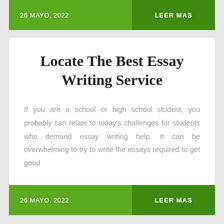26 MAYO, 2022   LEER MAS
Locate The Best Essay Writing Service
If you are a school or high school student, you probably can relate to today's challenges for students who demand essay writing help. It can be overwhelming to try to write the essays required to get good
26 MAYO, 2022   LEER MAS